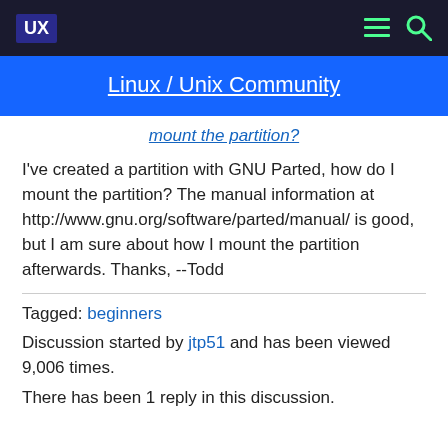UX — Linux / Unix Community
mount the partition?
I've created a partition with GNU Parted, how do I mount the partition? The manual information at http://www.gnu.org/software/parted/manual/ is good, but I am sure about how I mount the partition afterwards. Thanks, --Todd
Tagged: beginners
Discussion started by jtp51 and has been viewed 9,006 times.
There has been 1 reply in this discussion.